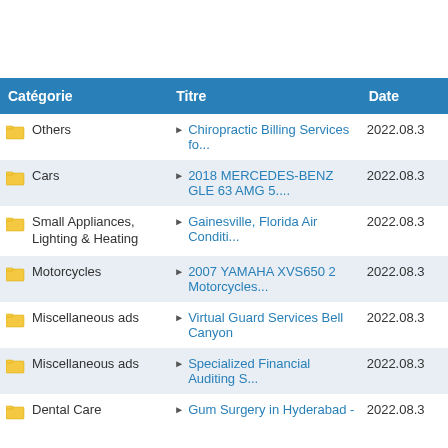| Catégorie | Titre | Date |
| --- | --- | --- |
| Others | Chiropractic Billing Services fo... | 2022.08.3 |
| Cars | 2018 MERCEDES-BENZ GLE 63 AMG 5.... | 2022.08.3 |
| Small Appliances, Lighting & Heating | Gainesville, Florida Air Conditi... | 2022.08.3 |
| Motorcycles | 2007 YAMAHA XVS650 2 Motorcycles... | 2022.08.3 |
| Miscellaneous ads | Virtual Guard Services Bell Canyon | 2022.08.3 |
| Miscellaneous ads | Specialized Financial Auditing S... | 2022.08.3 |
| Dental Care | Gum Surgery in Hyderabad - | 2022.08.3 |